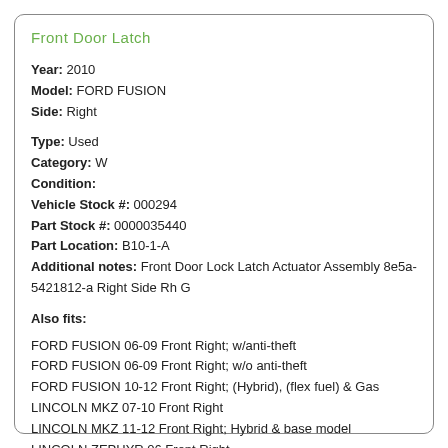Front Door Latch
Year: 2010
Model: FORD FUSION
Side: Right
Type: Used
Category: W
Condition:
Vehicle Stock #: 000294
Part Stock #: 0000035440
Part Location: B10-1-A
Additional notes: Front Door Lock Latch Actuator Assembly 8e5a-5421812-a Right Side Rh G
Also fits:
FORD FUSION 06-09 Front Right; w/anti-theft
FORD FUSION 06-09 Front Right; w/o anti-theft
FORD FUSION 10-12 Front Right; (Hybrid), (flex fuel) & Gas
LINCOLN MKZ 07-10 Front Right
LINCOLN MKZ 11-12 Front Right; Hybrid & base model
LINCOLN ZEPHYR 06 Front Right